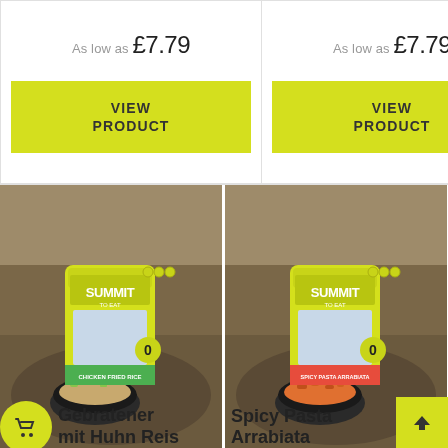As low as £7.79
VIEW PRODUCT
As low as £7.79
VIEW PRODUCT
[Figure (photo): Summit To Eat freeze-dried meal packet 'Chicken Fried Rice' with a bowl of fried rice, photographed outdoors on rocky terrain]
[Figure (photo): Summit To Eat freeze-dried meal packet 'Spicy Pasta Arrabiata' with a bowl of pasta, photographed outdoors on rocky terrain]
Gebratener mit Huhn Reis
Spicy Pasta Arrabiata